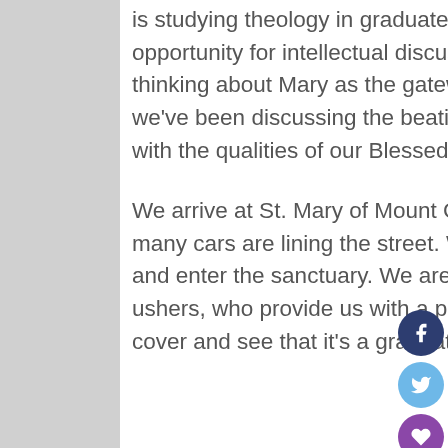is studying theology in graduate school provides ample opportunity for intellectual discussions. Lately she's been thinking about Mary as the gateway to the Church, and we've been discussing the beatitudes and comparing that with the qualities of our Blessed Mother.

We arrive at St. Mary of Mount Carmel and reflect on how many cars are lining the street.  We park, walk up the stairs and enter the sanctuary.  We are met by 8 sixth grade ushers, who provide us with a printed program.  I look at the cover and see that it's a graduation